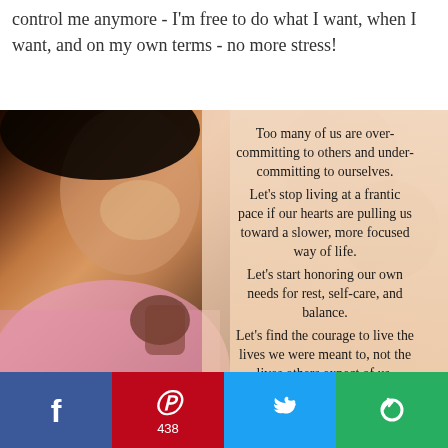control me anymore - I'm free to do what I want, when I want, and on my own terms - no more stress!
[Figure (photo): A smiling woman in a pink shirt holding a mug, overlaid with inspirational text on a warm-toned background. Text reads: Too many of us are over-committing to others and under-committing to ourselves. Let's stop living at a frantic pace if our hearts are pulling us toward a slower, more focused way of life. Let's start honoring our own needs for rest, self-care, and balance. Let's find the courage to live the lives we were meant to, not the lives others expect of us. Let's recommit to our own vision and finally listen to the voice]
Facebook | Pinterest 438 | Twitter | Share